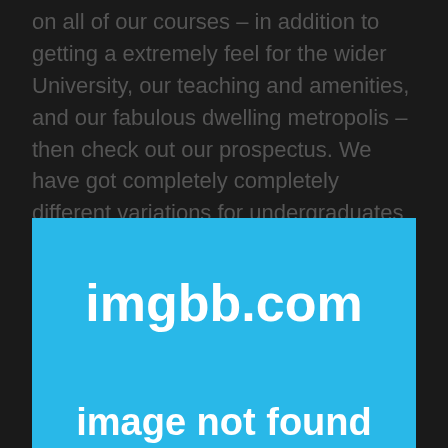on all of our courses – in addition to getting a extremely feel for the wider University, our teaching and amenities, and our fabulous dwelling metropolis – then check out our prospectus. We have got completely completely different variations for undergraduates and postgraduates, simply order a tough copy or receive our PDF model.
[Figure (other): Image placeholder showing 'imgbb.com' and 'image not found' text on a light blue background]